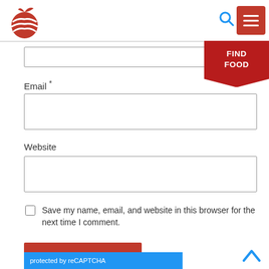[Figure (logo): Red apple logo with white stripe lines]
[Figure (other): Blue search icon (magnifying glass)]
[Figure (other): Red hamburger menu button]
[Figure (other): Red FIND FOOD ribbon button]
Email *
Website
Save my name, email, and website in this browser for the next time I comment.
POST COMMENT
protected by reCAPTCHA